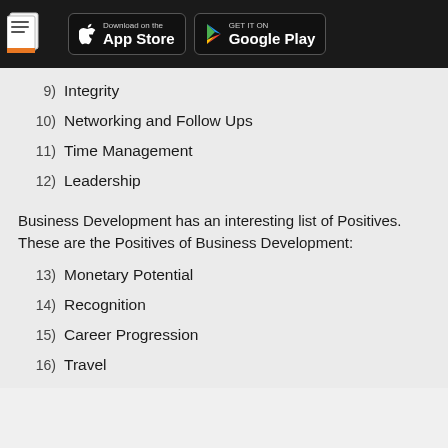App Store / Google Play header
9) Integrity
10) Networking and Follow Ups
11) Time Management
12) Leadership
Business Development has an interesting list of Positives. These are the Positives of Business Development:
13) Monetary Potential
14) Recognition
15) Career Progression
16) Travel